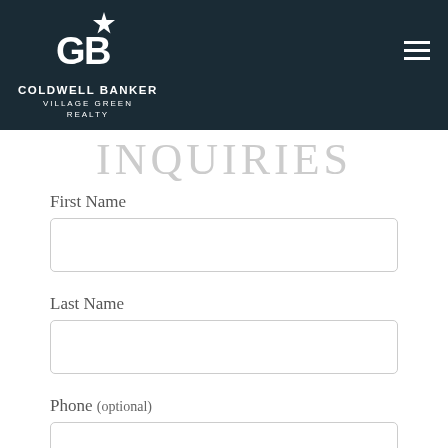[Figure (logo): Coldwell Banker Village Green Realty logo in white on dark navy background with hamburger menu icon]
INQUIRIES
First Name
Last Name
Phone (optional)